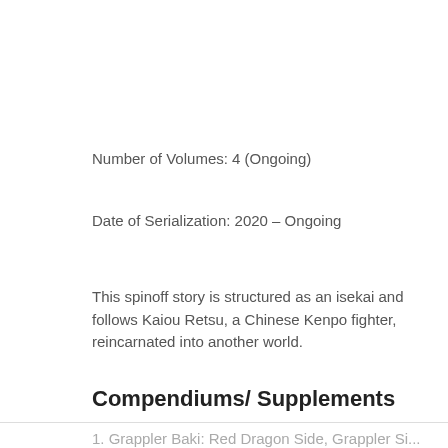Number of Volumes: 4 (Ongoing)
Date of Serialization: 2020 – Ongoing
This spinoff story is structured as an isekai and follows Kaiou Retsu, a Chinese Kenpo fighter, reincarnated into another world.
Compendiums/ Supplements
1. Grappler Baki: Red Dragon Side, Grappler Si...